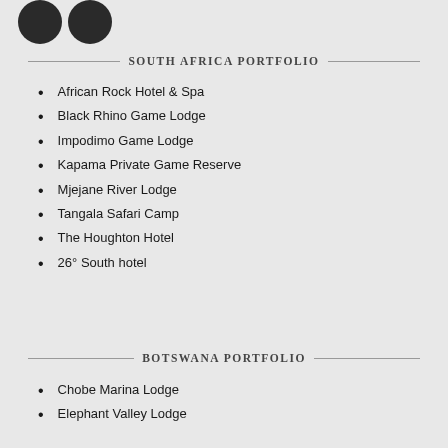[Figure (logo): Two dark circular logo shapes in top-left corner]
SOUTH AFRICA PORTFOLIO
African Rock Hotel & Spa
Black Rhino Game Lodge
Impodimo Game Lodge
Kapama Private Game Reserve
Mjejane River Lodge
Tangala Safari Camp
The Houghton Hotel
26° South hotel
BOTSWANA PORTFOLIO
Chobe Marina Lodge
Elephant Valley Lodge